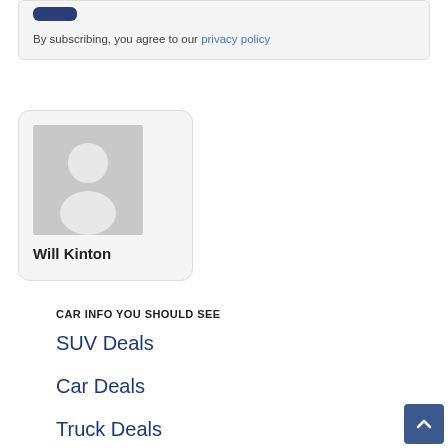By subscribing, you agree to our privacy policy
[Figure (illustration): Author profile card with placeholder avatar image and name Will Kinton]
Will Kinton
CAR INFO YOU SHOULD SEE
SUV Deals
Car Deals
Truck Deals